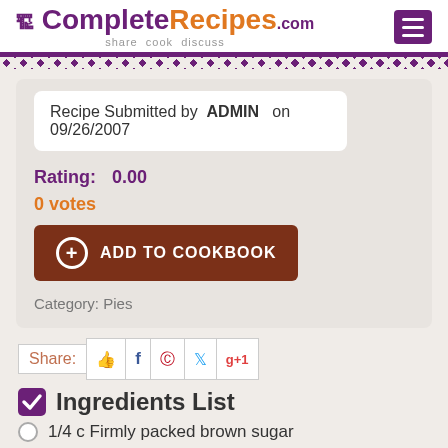CompleteRecipes.com share cook discuss
Recipe Submitted by ADMIN on 09/26/2007
Rating: 0.00
0 votes
ADD TO COOKBOOK
Category: Pies
Share:
Ingredients List
1/4 c Firmly packed brown sugar
1 tb Melted butter
1 tb Corn syrup